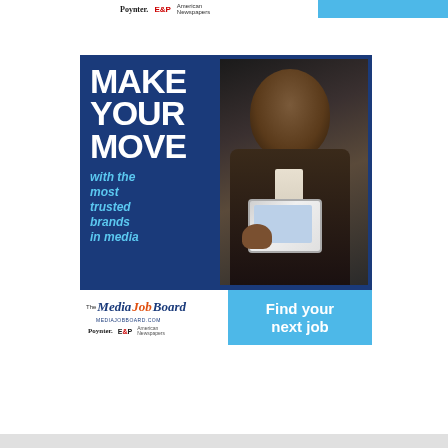[Figure (infographic): Advertisement for The Media Job Board. Dark blue background with large white bold text 'MAKE YOUR MOVE', cyan italic text 'with the most trusted brands in media', a photo of a man in a suit using a tablet. Bottom bar has white area with 'The Media Job Board' logo and partner logos (Poynter, E&P, American Newspapers), and a cyan bar with bold white text 'Find your next job'.]